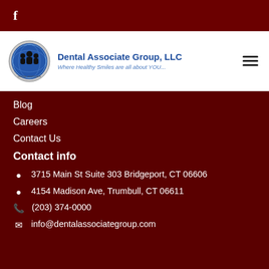[Figure (logo): Facebook 'f' icon in white on dark red background top bar]
[Figure (logo): Dental Associate Group LLC logo: circular emblem with people silhouettes in blue/silver globe, company name in blue 'Dental Associate Group, LLC', tagline in italic blue 'Where Healthy Smiles are all about YOU...']
Blog
Careers
Contact Us
Contact info
3715 Main St Suite 303 Bridgeport, CT 06606
4154 Madison Ave, Trumbull, CT 06611
(203) 374-0000
info@dentalassociategroup.com